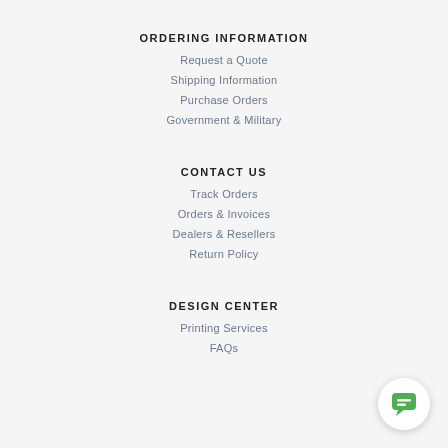ORDERING INFORMATION
Request a Quote
Shipping Information
Purchase Orders
Government & Military
CONTACT US
Track Orders
Orders & Invoices
Dealers & Resellers
Return Policy
DESIGN CENTER
Printing Services
FAQs
[Figure (illustration): Green chat bubble icon on white circle button, bottom right corner]